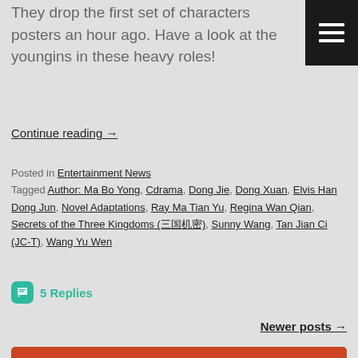They drop the first set of characters posters an hour ago. Have a look at the youngins in these heavy roles!
Continue reading →
Posted in Entertainment News
Tagged Author: Ma Bo Yong, Cdrama, Dong Jie, Dong Xuan, Elvis Han Dong Jun, Novel Adaptations, Ray Ma Tian Yu, Regina Wan Qian, Secrets of the Three Kingdoms (三国机密), Sunny Wang, Tan Jian Ci (JC-T), Wang Yu Wen
5 Replies
Newer posts →
DAILY CHATTERING OF THE DEVIL
*NOTE*: The Cbox is NOT the place to request. You do so in the right post of the drama. Violations will be deleted.